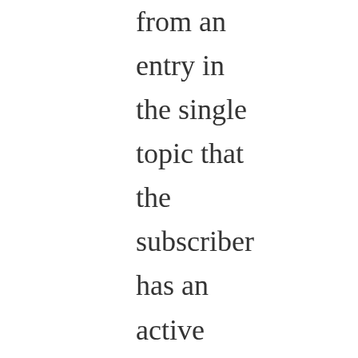from an entry in the single topic that the subscriber has an active subscription for. Essentially, in the single feed case the subscriber will receive an Atom document